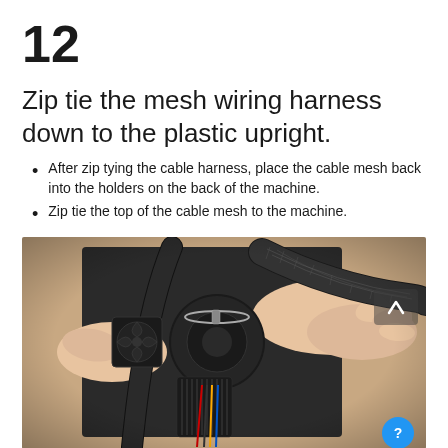12
Zip tie the mesh wiring harness down to the plastic upright.
After zip tying the cable harness, place the cable mesh back into the holders on the back of the machine.
Zip tie the top of the cable mesh to the machine.
[Figure (photo): Close-up photo of hands holding a black cable mesh wiring harness connected to a 3D printer extruder assembly with visible fan and wires.]